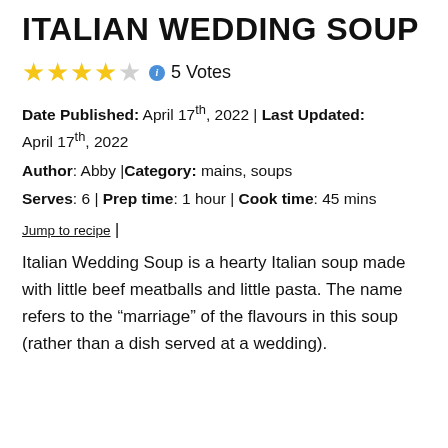ITALIAN WEDDING SOUP
[Figure (other): 4 filled gold stars and 1 empty star rating, info icon, 5 Votes]
Date Published: April 17th, 2022 | Last Updated: April 17th, 2022
Author: Abby | Category: mains, soups
Serves: 6 | Prep time: 1 hour | Cook time: 45 mins
Jump to recipe |
Italian Wedding Soup is a hearty Italian soup made with little beef meatballs and little pasta. The name refers to the “marriage” of the flavours in this soup (rather than a dish served at a wedding).